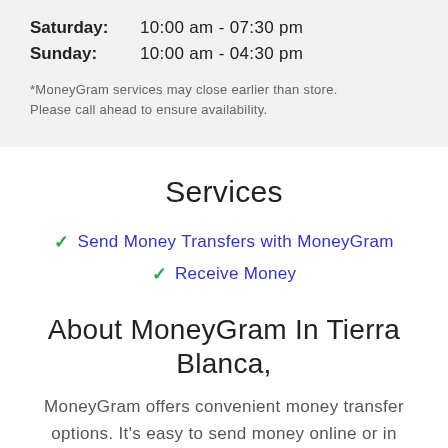Saturday:   10:00 am - 07:30 pm
Sunday:   10:00 am - 04:30 pm
*MoneyGram services may close earlier than store. Please call ahead to ensure availability.
Services
Send Money Transfers with MoneyGram
Receive Money
About MoneyGram In Tierra Blanca,
MoneyGram offers convenient money transfer options. It's easy to send money online or in